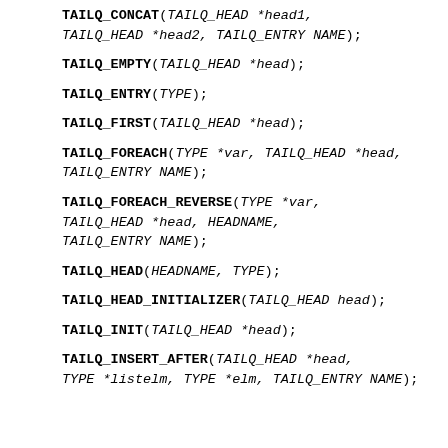TAILQ_CONCAT(TAILQ_HEAD *head1, TAILQ_HEAD *head2, TAILQ_ENTRY NAME);
TAILQ_EMPTY(TAILQ_HEAD *head);
TAILQ_ENTRY(TYPE);
TAILQ_FIRST(TAILQ_HEAD *head);
TAILQ_FOREACH(TYPE *var, TAILQ_HEAD *head, TAILQ_ENTRY NAME);
TAILQ_FOREACH_REVERSE(TYPE *var, TAILQ_HEAD *head, HEADNAME, TAILQ_ENTRY NAME);
TAILQ_HEAD(HEADNAME, TYPE);
TAILQ_HEAD_INITIALIZER(TAILQ_HEAD head);
TAILQ_INIT(TAILQ_HEAD *head);
TAILQ_INSERT_AFTER(TAILQ_HEAD *head, TYPE *listelm, TYPE *elm, TAILQ_ENTRY NAME);